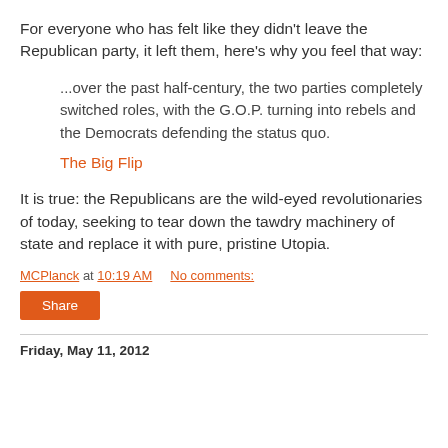For everyone who has felt like they didn't leave the Republican party, it left them, here's why you feel that way:
...over the past half-century, the two parties completely switched roles, with the G.O.P. turning into rebels and the Democrats defending the status quo.
The Big Flip
It is true: the Republicans are the wild-eyed revolutionaries of today, seeking to tear down the tawdry machinery of state and replace it with pure, pristine Utopia.
MCPlanck at 10:19 AM    No comments:
Share
Friday, May 11, 2012